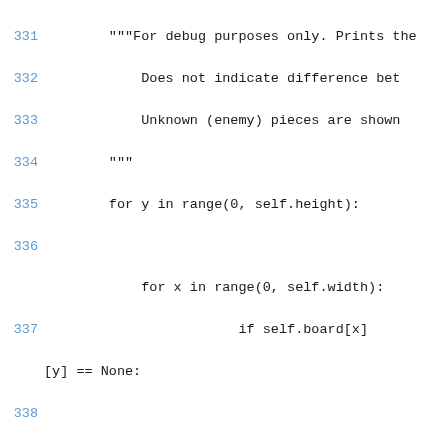Code listing lines 331-347 showing Python source code for a game AI board display and main entry point.